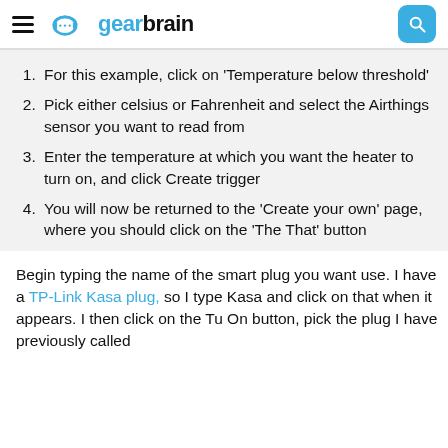gearbrain
For this example, click on 'Temperature below threshold'
Pick either celsius or Fahrenheit and select the Airthings sensor you want to read from
Enter the temperature at which you want the heater to turn on, and click Create trigger
You will now be returned to the 'Create your own' page, where you should click on the 'The That' button
Begin typing the name of the smart plug you want use. I have a TP-Link Kasa plug, so I type Kasa and click on that when it appears. I then click on the Tu On button, pick the plug I have previously called